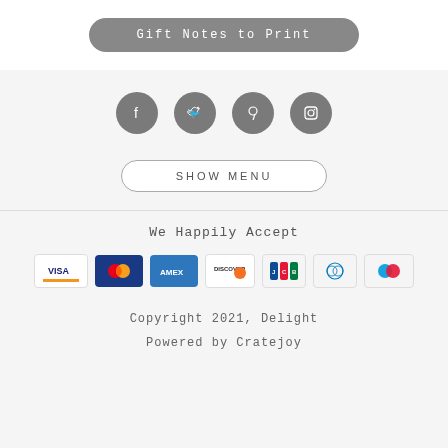[Figure (other): Gray rounded button labeled 'Gift Notes to Print']
[Figure (other): Four gray circular social media icons: Facebook, Twitter, Pinterest, Instagram]
[Figure (other): Outlined rounded button labeled 'SHOW MENU']
We Happily Accept
[Figure (other): Payment method icons: Visa, Mastercard, Amex, Discover, JCB, Diners Club, Maestro]
Copyright 2021, Delight
Powered by Cratejoy